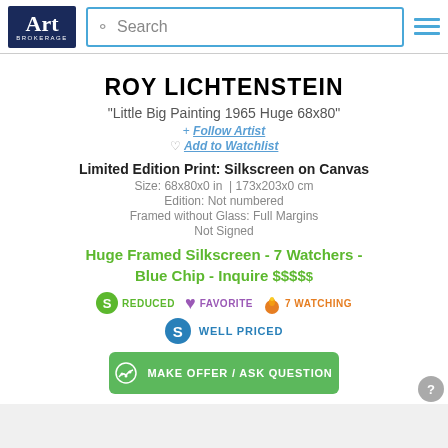Art Brokerage | Search
ROY LICHTENSTEIN
"Little Big Painting 1965 Huge 68x80"
+ Follow Artist
♡ Add to Watchlist
Limited Edition Print: Silkscreen on Canvas
Size: 68x80x0 in  | 173x203x0 cm
Edition: Not numbered
Framed without Glass: Full Margins
Not Signed
Huge Framed Silkscreen - 7 Watchers - Blue Chip - Inquire $$$$$
REDUCED | FAVORITE | 7 WATCHING
WELL PRICED
MAKE OFFER / ASK QUESTION